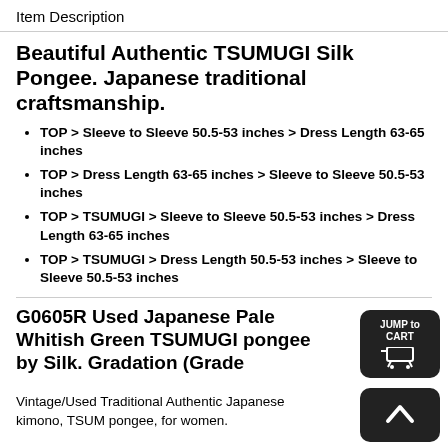Item Description
Beautiful Authentic TSUMUGI Silk Pongee. Japanese traditional craftsmanship.
TOP > Sleeve to Sleeve 50.5-53 inches > Dress Length 63-65 inches
TOP > Dress Length 63-65 inches > Sleeve to Sleeve 50.5-53 inches
TOP > TSUMUGI > Sleeve to Sleeve 50.5-53 inches > Dress Length 63-65 inches
TOP > TSUMUGI > Dress Length 50.5-53 inches > Sleeve to Sleeve 50.5-53 inches
G0605R Used Japanese Pale Whitish Green TSUMUGI pongee by Silk. Gradation (Grade
Vintage/Used Traditional Authentic Japanese kimono, TSUMUGI pongee, for women.